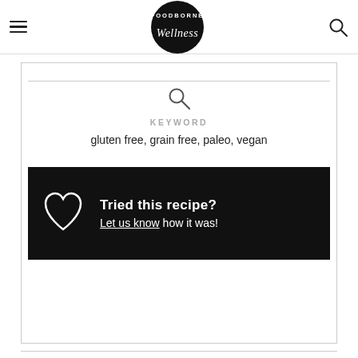Foodborne Wellness — navigation header with logo
KEYWORD
gluten free, grain free, paleo, vegan
Tried this recipe? Let us know how it was!